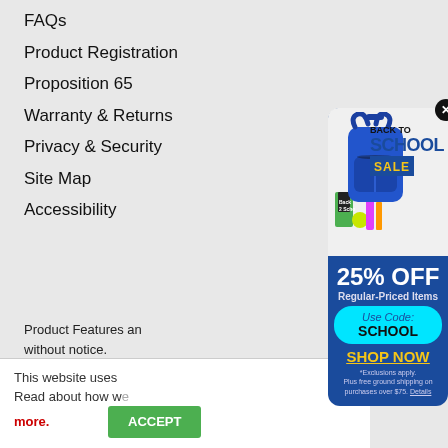FAQs
Product Registration
Proposition 65
Warranty & Returns
Privacy & Security
Site Map
Accessibility
Product Features and specifications are subject to change without notice.
This website uses cookies to enhance the user experience. Read about how we use cookies in our Privacy Policy.
more.
[Figure (infographic): Back to School Sale popup ad showing a blue backpack with school supplies, '25% OFF Regular-Priced Items', 'Use Code: SCHOOL', 'SHOP NOW', and exclusions text. Close button (X) in top right corner.]
ACCEPT